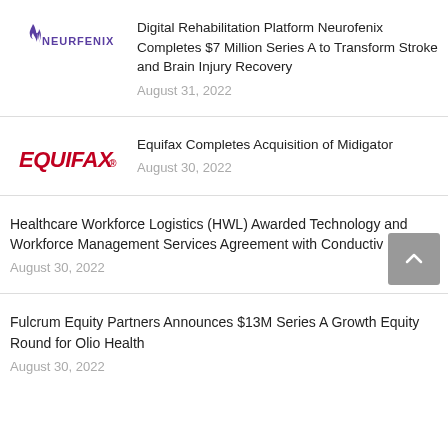[Figure (logo): Neurofenix logo — stylized purple/violet text with flame icon]
Digital Rehabilitation Platform Neurofenix Completes $7 Million Series A to Transform Stroke and Brain Injury Recovery
August 31, 2022
[Figure (logo): Equifax logo — bold red italic text]
Equifax Completes Acquisition of Midigator
August 30, 2022
Healthcare Workforce Logistics (HWL) Awarded Technology and Workforce Management Services Agreement with Conductiv
August 30, 2022
Fulcrum Equity Partners Announces $13M Series A Growth Equity Round for Olio Health
August 30, 2022